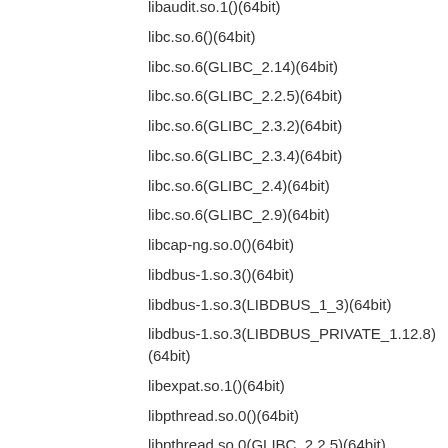libaudit.so.1()(64bit)
libc.so.6()(64bit)
libc.so.6(GLIBC_2.14)(64bit)
libc.so.6(GLIBC_2.2.5)(64bit)
libc.so.6(GLIBC_2.3.2)(64bit)
libc.so.6(GLIBC_2.3.4)(64bit)
libc.so.6(GLIBC_2.4)(64bit)
libc.so.6(GLIBC_2.9)(64bit)
libcap-ng.so.0()(64bit)
libdbus-1.so.3()(64bit)
libdbus-1.so.3(LIBDBUS_1_3)(64bit)
libdbus-1.so.3(LIBDBUS_PRIVATE_1.12.8)(64bit)
libexpat.so.1()(64bit)
libpthread.so.0()(64bit)
libpthread.so.0(GLIBC_2.2.5)(64bit)
libselinux(x86-64) >= 2.0.86
libsolinux.so.1()(64bit)